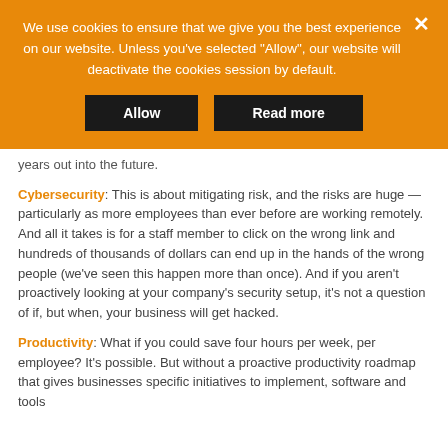[Figure (screenshot): Cookie consent banner with orange background, message text, Allow and Read more buttons, and a close X button]
years out into the future.
Cybersecurity: This is about mitigating risk, and the risks are huge — particularly as more employees than ever before are working remotely. And all it takes is for a staff member to click on the wrong link and hundreds of thousands of dollars can end up in the hands of the wrong people (we've seen this happen more than once). And if you aren't proactively looking at your company's security setup, it's not a question of if, but when, your business will get hacked.
Productivity: What if you could save four hours per week, per employee? It's possible. But without a proactive productivity roadmap that gives businesses specific initiatives to implement, software and tools